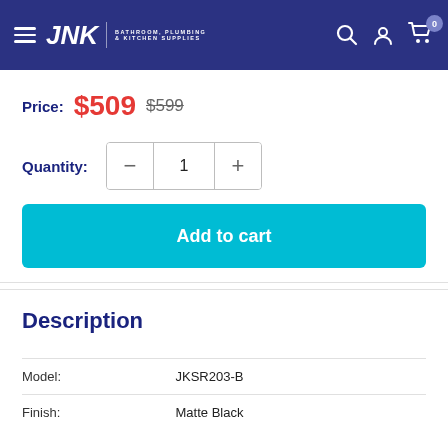JNK | BATHROOM, PLUMBING & KITCHEN SUPPLIES
Price: $509  $599
Quantity: − 1 +
Add to cart
Description
|  |  |
| --- | --- |
| Model: | JKSR203-B |
| Finish: | Matte Black |